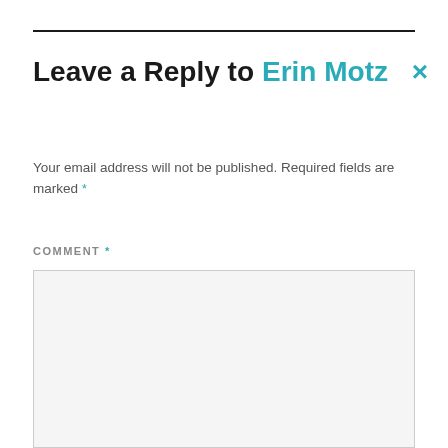Leave a Reply to Erin Motz ×
Your email address will not be published. Required fields are marked *
COMMENT *
[Figure (other): Empty comment text area input field with light gray background and border]